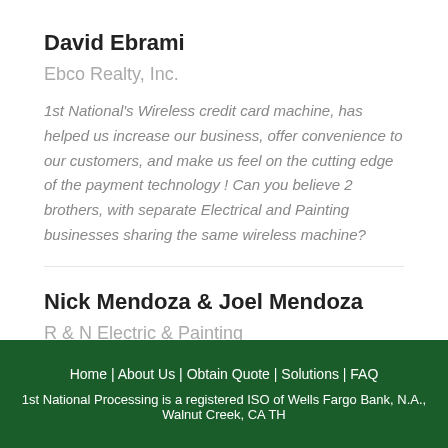David Ebrami
Ebco Realty, Inc.
1st National's Wireless credit card machine, has helped us increase our business, offer convenience to our customers, and make us feel on the cutting edge of the payment technology ! Can you believe 2 brothers, with separate Electrical and Painting businesses sharing the same wireless machine?
Nick Mendoza & Joel Mendoza
R & N Electric & Painting
Read more»
Home | About Us | Obtain Quote | Solutions | FAQ
1st National Processing is a registered ISO of Wells Fargo Bank, N.A., Walnut Creek, CA TH